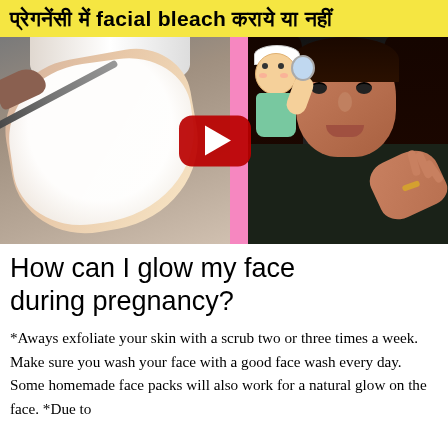प्रेगनेंसी में facial bleach कराये या नहीं
[Figure (screenshot): YouTube video thumbnail showing a woman receiving facial treatment with white mask on left side, a play button overlay in the center, a cartoon illustration of a woman applying skincare in the middle, and a real woman presenter on the right side against a pink background.]
How can I glow my face during pregnancy?
*Aways exfoliate your skin with a scrub two or three times a week. Make sure you wash your face with a good face wash every day. Some homemade face packs will also work for a natural glow on the face. *Due to